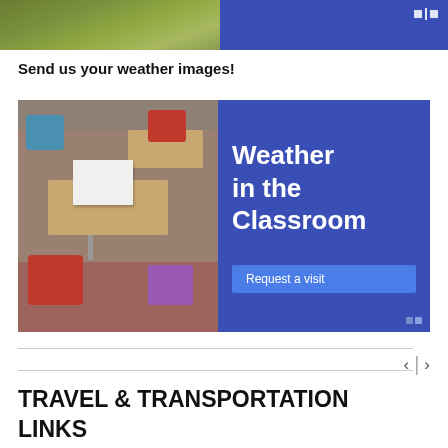[Figure (photo): Top banner with outdoor grass photo on left and blue panel on right with navigation dots]
Send us your weather images!
[Figure (infographic): Classroom image on left with school desks and chairs, blue panel on right with text 'Weather in the Classroom' and 'Request a visit' button]
TRAVEL & TRANSPORTATION LINKS